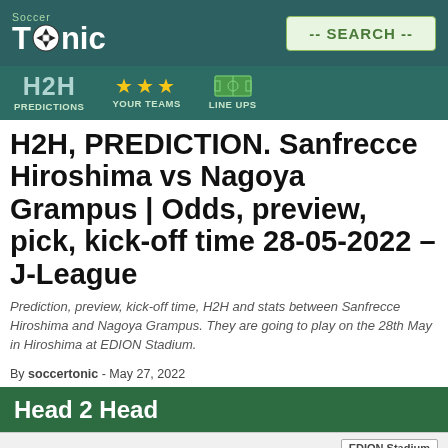Soccer Tonic -- SEARCH --
H2H PREDICTIONS  YOUR TEAMS  LINE UPS
H2H, PREDICTION. Sanfrecce Hiroshima vs Nagoya Grampus | Odds, preview, pick, kick-off time 28-05-2022 – J-League
Prediction, preview, kick-off time, H2H and stats between Sanfrecce Hiroshima and Nagoya Grampus. They are going to play on the 28th May in Hiroshima at EDION Stadium.
By soccertonic - May 27, 2022
Head 2 Head
EDION Stadium